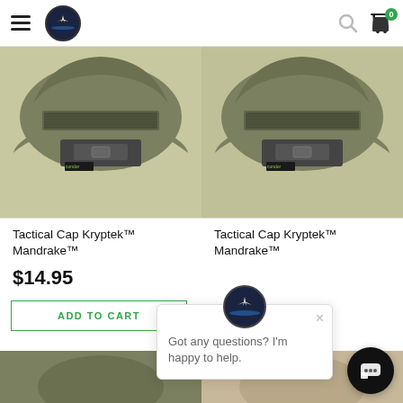Navigation header with hamburger menu, logo, search icon, and cart icon with badge 0
[Figure (photo): Back view of olive/khaki tactical cap with velcro panel and adjustment strap (left product)]
[Figure (photo): Back view of olive/khaki tactical cap with velcro panel and adjustment strap (right product)]
Tactical Cap Kryptek™ Mandrake™
$14.95
ADD TO CART
Tactical Cap Kryptek™
[Figure (screenshot): Chat popup widget with avatar icon showing 'Got any questions? I'm happy to help.' message and close X button]
[Figure (photo): Partial front view of olive tactical cap (bottom left, partially cut off)]
[Figure (photo): Partial front view of tan/khaki tactical cap (bottom right, partially cut off)]
[Figure (other): Black circular chat/support button in bottom right corner]